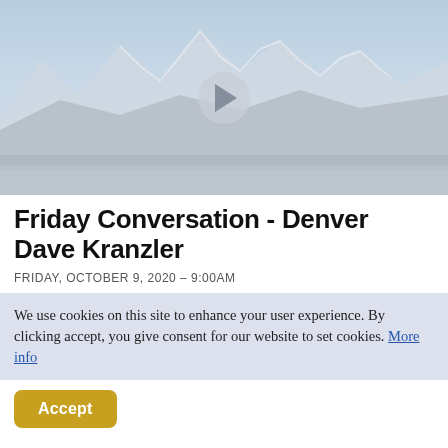[Figure (photo): A faded/washed-out landscape photograph of snow-capped mountains with forested hills in the foreground, featuring a circular play button overlay in the center.]
Friday Conversation - Denver Dave Kranzler
FRIDAY, OCTOBER 9, 2020 – 9:00AM
We use cookies on this site to enhance your user experience. By clicking accept, you give consent for our website to set cookies. More info
Accept